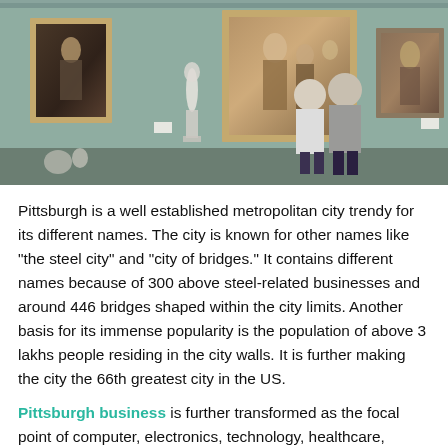[Figure (photo): Interior of an art museum gallery with sage green walls, several large framed classical paintings hanging on the walls, and two visitors viewed from behind standing in front of the paintings.]
Pittsburgh is a well established metropolitan city trendy for its different names. The city is known for other names like “the steel city” and “city of bridges.” It contains different names because of 300 above steel-related businesses and around 446 bridges shaped within the city limits. Another basis for its immense popularity is the population of above 3 lakhs people residing in the city walls. It is further making the city the 66th greatest city in the US.
Pittsburgh business is further transformed as the focal point of computer, electronics, technology, healthcare, education, etc.